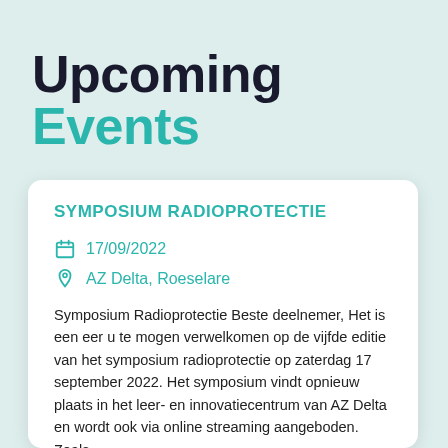Upcoming Events
SYMPOSIUM RADIOPROTECTIE
17/09/2022
AZ Delta, Roeselare
Symposium Radioprotectie Beste deelnemer, Het is een eer u te mogen verwelkomen op de vijfde editie van het symposium radioprotectie op zaterdag 17 september 2022. Het symposium vindt opnieuw plaats in het leer- en innovatiecentrum van AZ Delta en wordt ook via online streaming aangeboden. Zoals